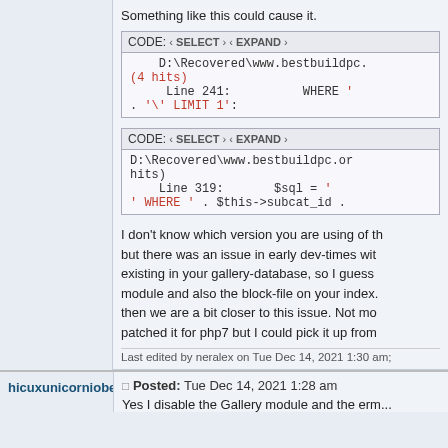Something like this could cause it.
[Figure (screenshot): CODE block showing: CODE: < SELECT > < EXPAND > with D:\Recovered\www.bestbuildpc. (4 hits) Line 241: WHERE ' . '\' LIMIT 1':]
[Figure (screenshot): CODE block showing: CODE: < SELECT > < EXPAND > with D:\Recovered\www.bestbuildpc.or hits) Line 319: $sql = ' ' WHERE ' . $this->subcat id .]
I don't know which version you are using of th but there was an issue in early dev-times wit existing in your gallery-database, so I guess module and also the block-file on your index. then we are a bit closer to this issue. Not mo patched it for php7 but I could pick it up from
Last edited by neralex on Tue Dec 14, 2021 1:30 am;
hicuxunicorniobestbuildpc
Posted: Tue Dec 14, 2021 1:28 am
Yes I disable the Gallery module and the erm...